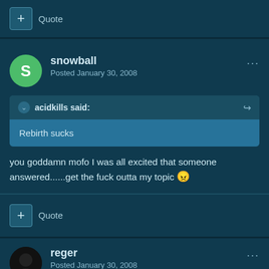+ Quote
snowball
Posted January 30, 2008
acidkills said:
Rebirth sucks
you goddamn mofo I was all excited that someone answered......get the fuck outta my topic 😠
+ Quote
reger
Posted January 30, 2008